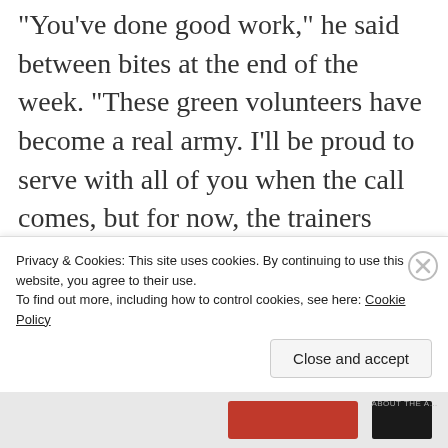each day.
“You’ve done good work,” he said between bites at the end of the week. “These green volunteers have become a real army. I’ll be proud to serve with all of you when the call comes, but for now, the trainers from Bog and Fen are going home. You’ll be working with the
Privacy & Cookies: This site uses cookies. By continuing to use this website, you agree to their use.
To find out more, including how to control cookies, see here: Cookie Policy
Close and accept